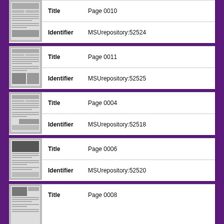[Figure (photo): Thumbnail of newspaper page, Page 0010]
| Field | Value |
| --- | --- |
| Title | Page 0010 |
| Identifier | MSUrepository:52524 |
[Figure (photo): Thumbnail of newspaper page, Page 0011]
| Field | Value |
| --- | --- |
| Title | Page 0011 |
| Identifier | MSUrepository:52525 |
[Figure (photo): Thumbnail of newspaper page, Page 0004]
| Field | Value |
| --- | --- |
| Title | Page 0004 |
| Identifier | MSUrepository:52518 |
[Figure (photo): Thumbnail of newspaper page, Page 0006]
| Field | Value |
| --- | --- |
| Title | Page 0006 |
| Identifier | MSUrepository:52520 |
[Figure (photo): Thumbnail of newspaper page, Page 0008]
| Field | Value |
| --- | --- |
| Title | Page 0008 |
|  |